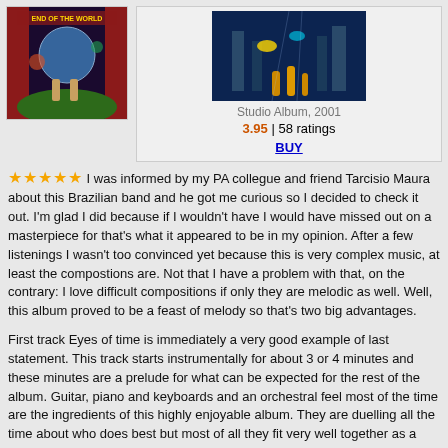[Figure (illustration): Album cover art showing two figures looking at a globe/world with colorful fantasy imagery and text 'End of the World' at top]
[Figure (illustration): Album cover art showing an underwater fantasy scene with ruins and fish in blue/teal tones]
Studio Album, 2001
3.95 | 58 ratings
BUY
★★★★★ I was informed by my PA collegue and friend Tarcisio Maura about this Brazilian band and he got me curious so I decided to check it out. I'm glad I did because if I wouldn't have I would have missed out on a masterpiece for that's what it appeared to be in my opinion. After a few listenings I wasn't too convinced yet because this is very complex music, at least the compostions are. Not that I have a problem with that, on the contrary: I love difficult compositions if only they are melodic as well. Well, this album proved to be a feast of melody so that's two big advantages.
First track Eyes of time is immediately a very good example of last statement. This track starts instrumentally for about 3 or 4 minutes and these minutes are a prelude for what can be expected for the rest of the album. Guitar, piano and keyboards and an orchestral feel most of the time are the ingredients of this highly enjoyable album. They are duelling all the time about who does best but most of all they fit very well together as a great